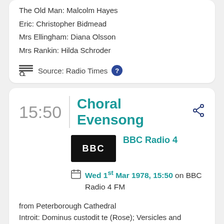The Old Man: Malcolm Hayes
Eric: Christopher Bidmead
Mrs Ellingham: Diana Olsson
Mrs Rankin: Hilda Schroder
Source: Radio Times
15:50
Choral Evensong
BBC Radio 4
Wed 1st Mar 1978, 15:50 on BBC Radio 4 FM
from Peterborough Cathedral
Introit: Dominus custodit te (Rose); Versicles and Responses(Rose);Psalms6,7,8 (Ouseley; Camidge; Vann)
Lessons: Exodus 15, v 27 to 16, v 35; Ephesians